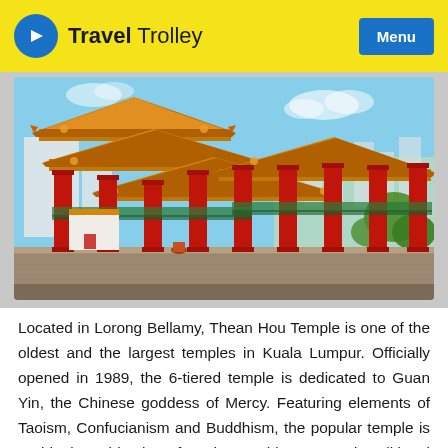Travel Trolley | Menu
[Figure (photo): Thean Hou Temple in Kuala Lumpur — ornate traditional Chinese temple with red pillars, multi-tiered golden roofs with decorative eaves, viewed from an elevated terrace with city skyline visible in background under blue sky]
Located in Lorong Bellamy, Thean Hou Temple is one of the oldest and the largest temples in Kuala Lumpur. Officially opened in 1989, the 6-tiered temple is dedicated to Guan Yin, the Chinese goddess of Mercy. Featuring elements of Taoism, Confucianism and Buddhism, the popular temple is an ideal combination of modern architecture and traditional design. The prayer hall of the temple houses 3 different